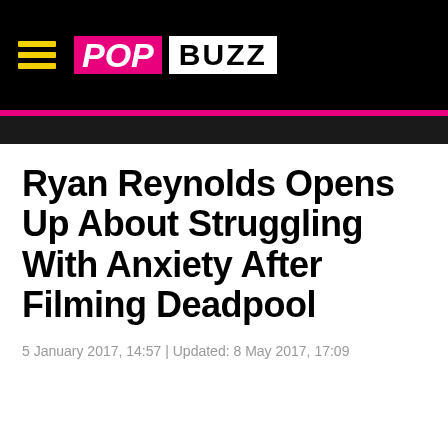[Figure (logo): PopBuzz logo with hamburger menu icon on black background]
Ryan Reynolds Opens Up About Struggling With Anxiety After Filming Deadpool
5 January 2017, 14:57 | Updated: 8 May 2017, 17:09